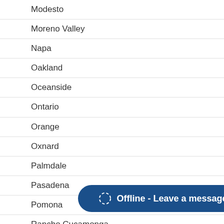Modesto
Moreno Valley
Napa
Oakland
Oceanside
Ontario
Orange
Oxnard
Palmdale
Pasadena
Pomona
Rancho Cucamonga
Riverside
Sacramento
Salinas
San Bernardino